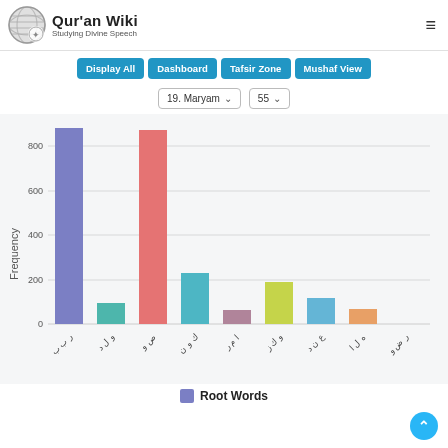Qur'an Wiki — Studying Divine Speech
Display All | Dashboard | Tafsir Zone | Mushaf View
19. Maryam  |  55
[Figure (bar-chart): Root Words Frequency]
Root Words